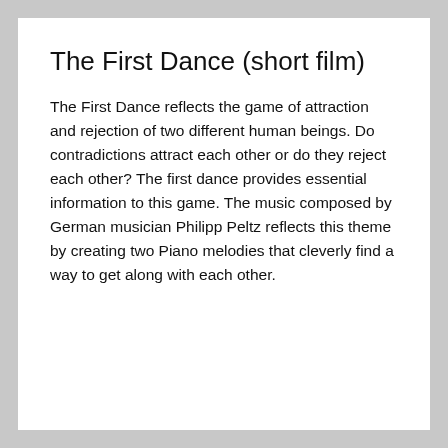The First Dance (short film)
The First Dance reflects the game of attraction and rejection of two different human beings. Do contradictions attract each other or do they reject each other? The first dance provides essential information to this game. The music composed by German musician Philipp Peltz reflects this theme by creating two Piano melodies that cleverly find a way to get along with each other.